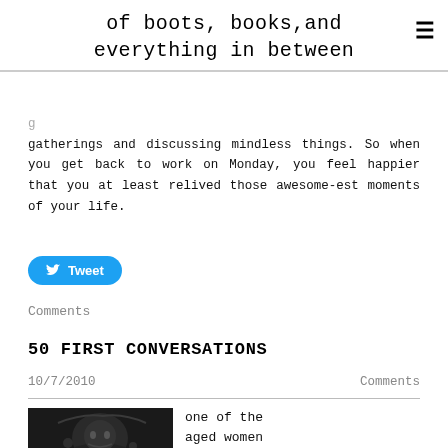of boots, books,and everything in between
gatherings and discussing mindless things. So when you get back to work on Monday, you feel happier that you at least relived those awesome-est moments of your life.
[Figure (other): Tweet button (Twitter social share button)]
Comments
50 FIRST CONVERSATIONS
10/7/2010
Comments
[Figure (photo): Black and white photo showing a close-up of what appears to be an aged woman]
one of the aged women